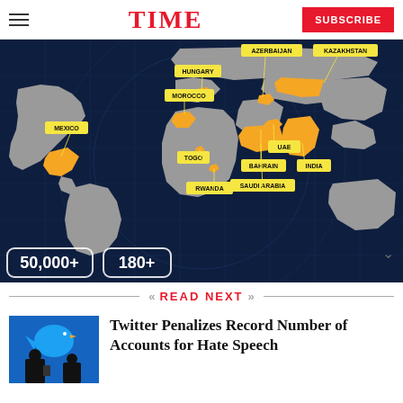TIME
[Figure (map): World map with orange-highlighted countries labeled: Azerbaijan, Kazakhstan, Hungary, Morocco, Mexico, Togo, Rwanda, UAE, Bahrain, India, Saudi Arabia. Bottom shows stats: 50,000+ and 180+]
READ NEXT
[Figure (photo): Twitter bird logo with silhouette of person on phone, blue background]
Twitter Penalizes Record Number of Accounts for Hate Speech